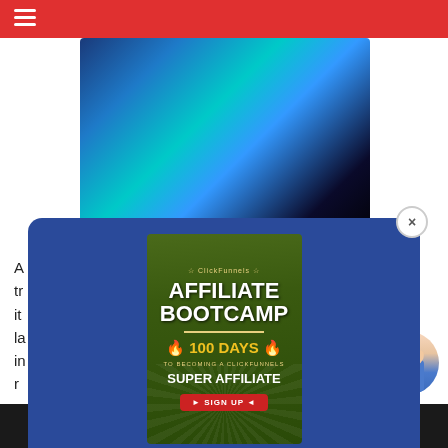[Figure (screenshot): Red navigation bar with hamburger menu icon at top]
[Figure (photo): Abstract blue and black smoke/powder background image]
A ... a true ... ne cases, it ... tible la ... be used in ... ot r...
[Figure (infographic): Modal popup with blue background containing: Affiliate Bootcamp book cover (green, 100 Days to Becoming a ClickFunnels Super Affiliate), First name input field, your@email.com email input field, and DOWNLOAD FREE AFFILIATE GUIDE red button. Close X button in top right corner.]
DOWNLOAD FREE AFFILIATE GUIDE
[Figure (photo): Avatar circle with person (woman with arms raised) in bottom right corner]
[Figure (screenshot): Bottom dark banner with COMPETITION text and YETI logo]